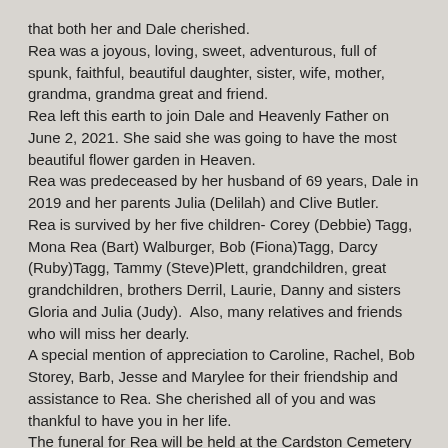that both her and Dale cherished.
Rea was a joyous, loving, sweet, adventurous, full of spunk, faithful, beautiful daughter, sister, wife, mother, grandma, grandma great and friend.
Rea left this earth to join Dale and Heavenly Father on June 2, 2021. She said she was going to have the most beautiful flower garden in Heaven.
Rea was predeceased by her husband of 69 years, Dale in 2019 and her parents Julia (Delilah) and Clive Butler.
Rea is survived by her five children- Corey (Debbie) Tagg, Mona Rea (Bart) Walburger, Bob (Fiona)Tagg, Darcy (Ruby)Tagg, Tammy (Steve)Plett, grandchildren, great grandchildren, brothers Derril, Laurie, Danny and sisters Gloria and Julia (Judy).  Also, many relatives and friends who will miss her dearly.
A special mention of appreciation to Caroline, Rachel, Bob Storey, Barb, Jesse and Marylee for their friendship and assistance to Rea. She cherished all of you and was thankful to have you in her life.
The funeral for Rea will be held at the Cardston Cemetery in Cardston, Alberta on June 8, 2021.  Due to covid restrictions it will be limited to family.
We ask that you plant a flower in memory for Rea.  Enjoy their beauty